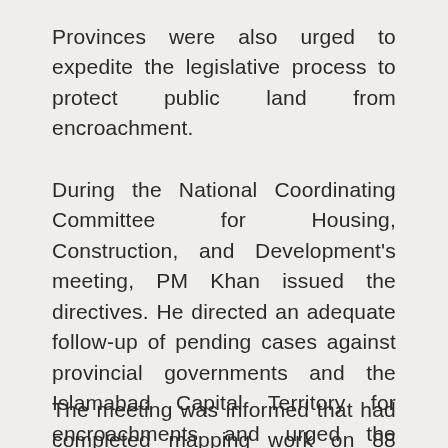Provinces were also urged to expedite the legislative process to protect public land from encroachment.
During the National Coordinating Committee for Housing, Construction, and Development's meeting, PM Khan issued the directives. He directed an adequate follow-up of pending cases against provincial governments and the Islamabad Capital Territory for encroachments and urged the establishment of plantations on encroached land.
The meeting was informed that had completed mapping work on 88 percent